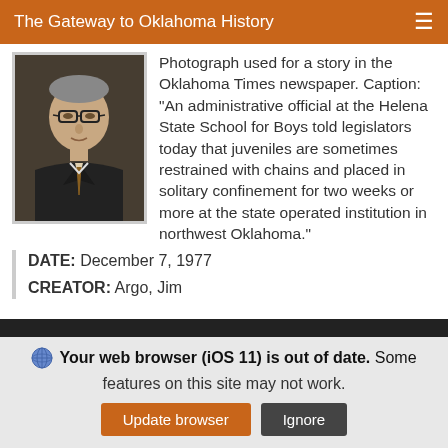The Gateway to Oklahoma History
[Figure (photo): Black and white portrait photograph of a man in a suit and tie, wearing glasses.]
Photograph used for a story in the Oklahoma Times newspaper. Caption: "An administrative official at the Helena State School for Boys told legislators today that juveniles are sometimes restrained with chains and placed in solitary confinement for two weeks or more at the state operated institution in northwest Oklahoma."
DATE: December 7, 1977
CREATOR: Argo, Jim
Your web browser (iOS 11) is out of date. Some features on this site may not work.